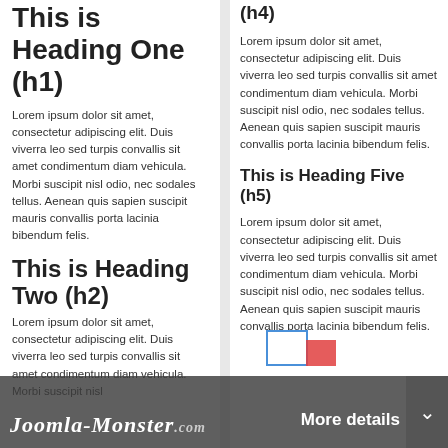This is Heading One (h1)
Lorem ipsum dolor sit amet, consectetur adipiscing elit. Duis viverra leo sed turpis convallis sit amet condimentum diam vehicula. Morbi suscipit nisl odio, nec sodales tellus. Aenean quis sapien suscipit mauris convallis porta lacinia bibendum felis.
This is Heading Two (h2)
Lorem ipsum dolor sit amet, consectetur adipiscing elit. Duis viverra leo sed turpis convallis sit amet condimentum diam vehicula. Morbi suscipit nisl
(h4)
Lorem ipsum dolor sit amet, consectetur adipiscing elit. Duis viverra leo sed turpis convallis sit amet condimentum diam vehicula. Morbi suscipit nisl odio, nec sodales tellus. Aenean quis sapien suscipit mauris convallis porta lacinia bibendum felis.
This is Heading Five (h5)
Lorem ipsum dolor sit amet, consectetur adipiscing elit. Duis viverra leo sed turpis convallis sit amet condimentum diam vehicula. Morbi suscipit nisl odio, nec sodales tellus. Aenean quis sapien suscipit mauris convallis porta lacinia bibendum felis.